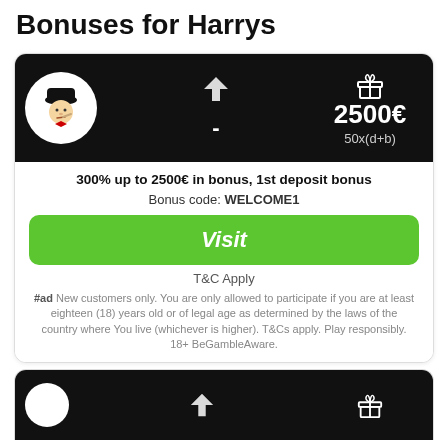Bonuses for Harrys
[Figure (infographic): Harry's Casino card with logo, bonus amount 2500€, wagering 50x(d+b), bonus title '300% up to 2500€ in bonus, 1st deposit bonus', bonus code WELCOME1, Visit button, T&C Apply, and disclaimer text]
300% up to 2500€ in bonus, 1st deposit bonus
Bonus code: WELCOME1
Visit
T&C Apply
#ad New customers only. You are only allowed to participate if you are at least eighteen (18) years old or of legal age as determined by the laws of the country where You live (whichever is higher). T&Cs apply. Play responsibly. 18+ BeGambleAware.